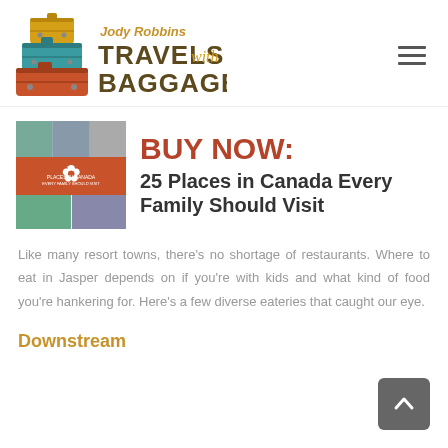[Figure (logo): Jody Robbins Travels with Baggage logo with stacked suitcases illustration]
[Figure (illustration): Book cover of '25 Places in Canada Every Family Should Visit']
BUY NOW: 25 Places in Canada Every Family Should Visit
Like many resort towns, there’s no shortage of restaurants. Where to eat in Jasper depends on if you’re with kids and what kind of food you’re hankering for. Here’s a few diverse eateries that caught our eye.
Downstream